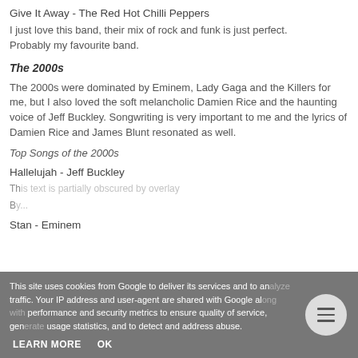Give It Away - The Red Hot Chilli Peppers
I just love this band, their mix of rock and funk is just perfect. Probably my favourite band.
The 2000s
The 2000s were dominated by Eminem, Lady Gaga and the Killers for me, but I also loved the soft melancholic Damien Rice and the haunting voice of Jeff Buckley. Songwriting is very important to me and the lyrics of Damien Rice and James Blunt resonated as well.
Top Songs of the 2000s
Hallelujah - Jeff Buckley
Stan - Eminem
This site uses cookies from Google to deliver its services and to analyze traffic. Your IP address and user-agent are shared with Google along with performance and security metrics to ensure quality of service, generate usage statistics, and to detect and address abuse.
LEARN MORE   OK